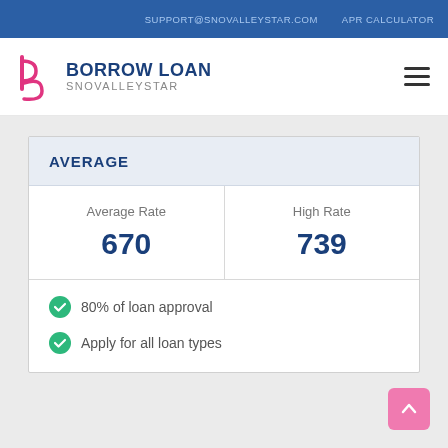SUPPORT@SNOVALLEYSTAR.COM   APR CALCULATOR
[Figure (logo): Borrow Loan Snovalleystar logo with stylized b/p pink icon]
AVERAGE
| Average Rate | High Rate |
| --- | --- |
| 670 | 739 |
80% of loan approval
Apply for all loan types